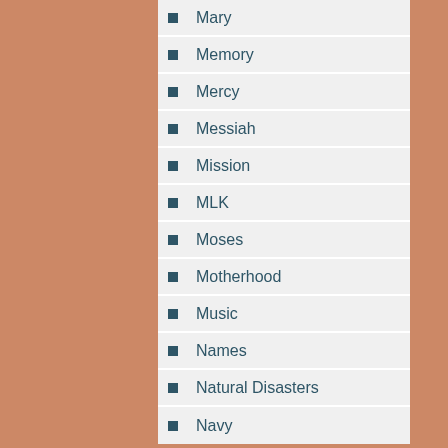Mary
Memory
Mercy
Messiah
Mission
MLK
Moses
Motherhood
Music
Names
Natural Disasters
Navy